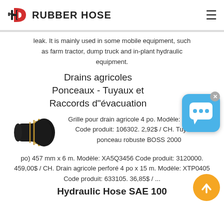[Figure (logo): HD Rubber Hose logo with red and black HD icon and bold text RUBBER HOSE]
leak. It is mainly used in some mobile equipment, such as farm tractor, dump truck and in-plant hydraulic equipment.
Drains agricoles Ponceaux - Tuyaux et Raccords d"évacuation
[Figure (photo): Black rubber hose fitting/connector with gold rings]
Grille pour drain agricole 4 po. Modèle: XFG0430 Code produit: 106302. 2,92$ / CH. Tuyau de ponceau robuste BOSS 2000 (18 po) 457 mm x 6 m. Modèle: XA5Q3456 Code produit: 3120000. 459,00$ / CH. Drain agricole perforé 4 po x 15 m. Modèle: XTP0405 Code produit: 633105. 36,85$ / ...
Hydraulic Hose SAE 100